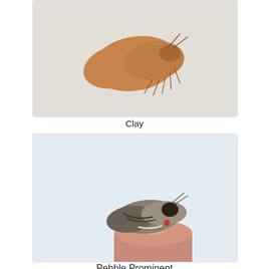[Figure (photo): Photo of a clay moth specimen resting on a white surface, brownish-orange coloring, viewed from above]
Clay
[Figure (photo): Photo of a Pebble Prominent moth perched on a human fingertip, showing mottled grey-brown wings, viewed from side]
Pebble Prominent
[Figure (photo): Partial photo of multiple moth specimens on a white surface, straw/buff colored moths, bottom of page]